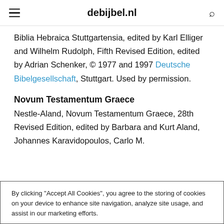debijbel.nl
Biblia Hebraica Stuttgartensia, edited by Karl Elliger and Wilhelm Rudolph, Fifth Revised Edition, edited by Adrian Schenker, © 1977 and 1997 Deutsche Bibelgesellschaft, Stuttgart. Used by permission.
Novum Testamentum Graece
Nestle-Aland, Novum Testamentum Graece, 28th Revised Edition, edited by Barbara and Kurt Aland, Johannes Karavidopoulos, Carlo M.
By clicking "Accept All Cookies", you agree to the storing of cookies on your device to enhance site navigation, analyze site usage, and assist in our marketing efforts.